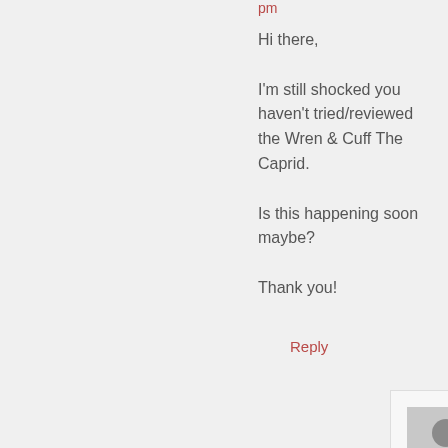pm
Hi there,

I'm still shocked you haven't tried/reviewed the Wren & Cuff The Caprid.

Is this happening soon maybe?

Thank you!
Reply
Bjorn
says:
September 21, 2017 at